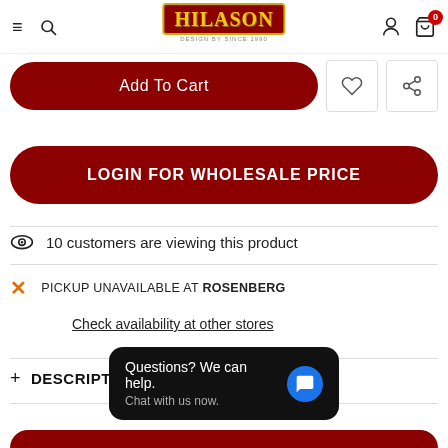HILASON — navigation header with hamburger, search, logo, user, cart
Add To Cart
LOGIN FOR WHOLESALE PRICE
10 customers are viewing this product
PICKUP UNAVAILABLE AT ROSENBERG
Check availability at other stores
+ DESCRIPTION
Questions? We can help. Chat with us now.